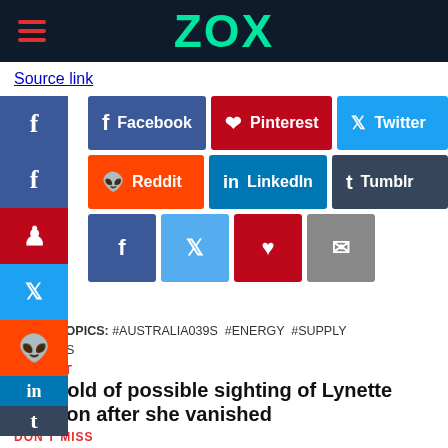ZOX
Source link
[Figure (infographic): Social media share buttons: Facebook, Pinterest, Twitter, Reddit, LinkedIn, Tumblr, and icon buttons for Facebook, Twitter, Pinterest, Email. Left side shows stacked social media icon squares.]
RELATED TOPICS: #AUSTRALIA039S #ENERGY #SUPPLY #WHAT039S
UP NEXT
Trial told of possible sighting of Lynette Dawson after she vanished
DON'T MISS
Investor makes you would least expect from a